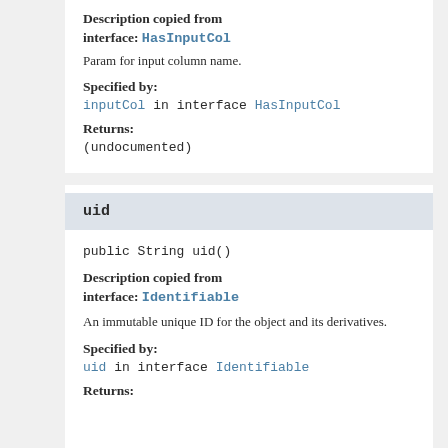Description copied from interface: HasInputCol
Param for input column name.
Specified by:
inputCol in interface HasInputCol
Returns:
(undocumented)
uid
public String uid()
Description copied from interface: Identifiable
An immutable unique ID for the object and its derivatives.
Specified by:
uid in interface Identifiable
Returns: